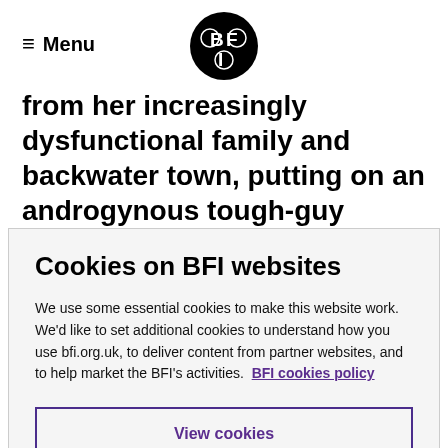≡ Menu [BFI logo]
from her increasingly dysfunctional family and backwater town, putting on an androgynous tough-guy demeanour for which we eventually learn the
Cookies on BFI websites
We use some essential cookies to make this website work. We'd like to set additional cookies to understand how you use bfi.org.uk, to deliver content from partner websites, and to help market the BFI's activities. BFI cookies policy
View cookies
Reject cookies
Accept cookies